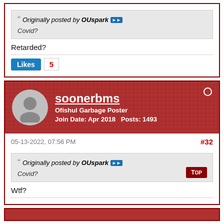Originally posted by OUspark  Covid?
Retarded?
Likes 5
[Figure (screenshot): User profile banner for soonerbms, Ofishul Garbage Poster, Join Date: Apr 2018, Posts: 1493, with brick wall background]
05-13-2022, 07:56 PM  #32
Originally posted by OUspark  Covid?
Wtf?